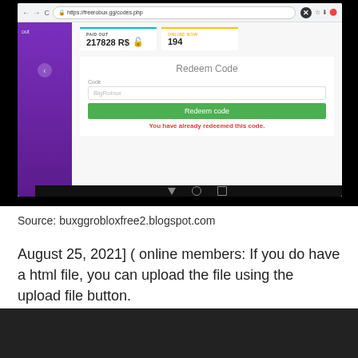[Figure (screenshot): Screenshot of a tablet showing a browser with freerobux.gg/codes.php open. The page shows 'PAID OUT 217828 R$' with a lock icon in teal, 'ONLINE NOW 194' in yellow, a 'Redeem Code' section with a code input containing 'BigRobux', a green 'Redeem code' button, and an error message in red 'You have already redeemed this code.']
Source: buxggrobloxfree2.blogspot.com
August 25, 2021] ( online members: If you do have a html file, you can upload the file using the upload file button.
[Figure (screenshot): Partial screenshot of a browser showing a Roblox-related page with a user greeting 'Hello, beutiful26aj!' and avatar images. A red scroll-to-top button with an up arrow is visible in the bottom right.]